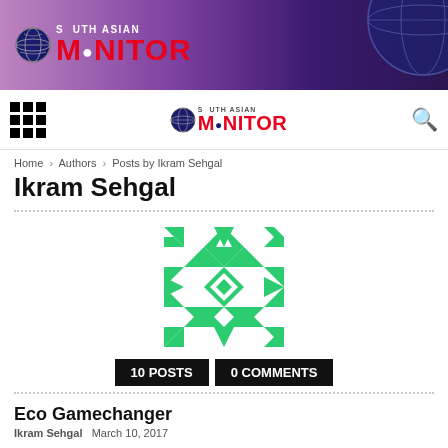[Figure (logo): South Asian Monitor banner logo with globe icon on purple/magenta gradient background with globe image on right]
[Figure (logo): South Asian Monitor navigation bar logo with grid menu icon on left and search icon on right]
Home › Authors › Posts by Ikram Sehgal
Ikram Sehgal
[Figure (illustration): Green geometric pattern avatar image (WordPress-style default avatar)]
10 POSTS   0 COMMENTS
Eco Gamechanger
Ikram Sehgal   March 10, 2017